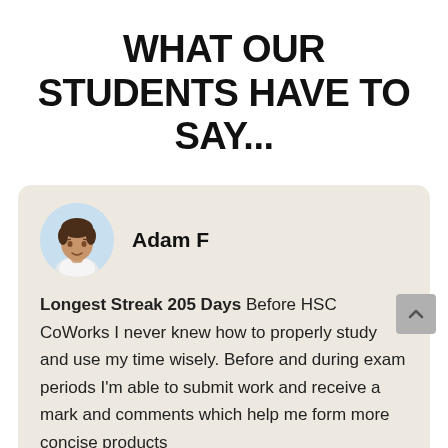WHAT OUR STUDENTS HAVE TO SAY...
Adam F
Longest Streak 205 Days Before HSC CoWorks I never knew how to properly study and use my time wisely. Before and during exam periods I'm able to submit work and receive a mark and comments which help me form more concise products